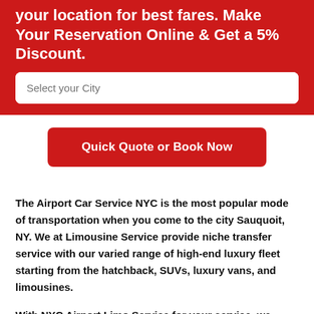your location for best fares. Make Your Reservation Online & Get a 5% Discount.
Select your City
Quick Quote or Book Now
The Airport Car Service NYC is the most popular mode of transportation when you come to the city Sauquoit, NY. We at Limousine Service provide niche transfer service with our varied range of high-end luxury fleet starting from the hatchback, SUVs, luxury vans, and limousines.
With NYC Airport Limo Service for your service, we